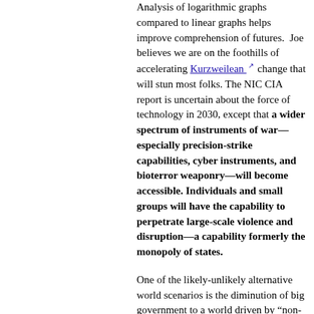Analysis of logarithmic graphs compared to linear graphs helps improve comprehension of futures. Joe believes we are on the foothills of accelerating Kurzweilean change that will stun most folks. The NIC CIA report is uncertain about the force of technology in 2030, except that a wider spectrum of instruments of war—especially precision-strike capabilities, cyber instruments, and bioterror weaponry—will become accessible. Individuals and small groups will have the capability to perpetrate large-scale violence and disruption—a capability formerly the monopoly of states.
One of the likely-unlikely alternative world scenarios is the diminution of big government to a world driven by "non-nation states," informal networks, and "NGOs". Future technology (on the workbench today) will enable all of this and more. African cultural units, which in many cases cross country boundaries, could be a major force if unleashed (maybe with the help of China.) The young people in Africa are very smart and entrepreneurial but they have been screwed over by their corrupt leaders